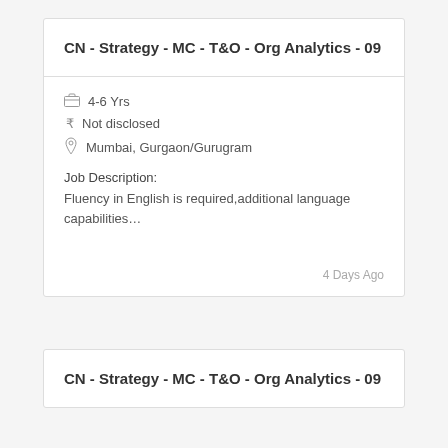CN - Strategy - MC - T&O - Org Analytics - 09
4-6 Yrs
Not disclosed
Mumbai, Gurgaon/Gurugram
Job Description:
Fluency in English is required,additional language capabilities…
4 Days Ago
CN - Strategy - MC - T&O - Org Analytics - 09